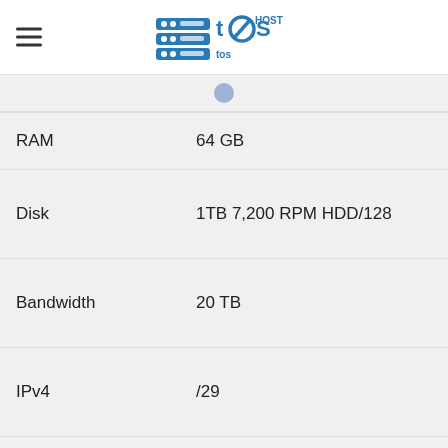TOS HOST (logo with hamburger menu)
| Feature | Value |
| --- | --- |
| RAM | 64 GB |
| Disk | 1TB 7,200 RPM HDD/128 |
| Bandwidth | 20 TB |
| IPv4 | /29 |
| Price | $380.00 |